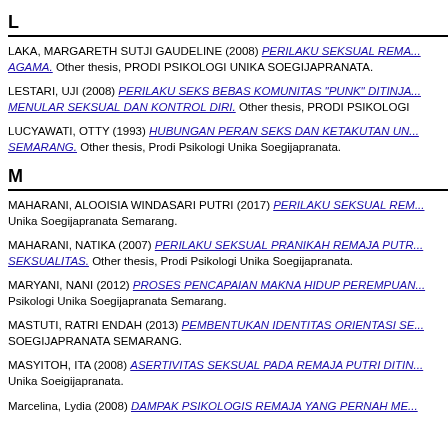L
LAKA, MARGARETH SUTJI GAUDELINE (2008) PERILAKU SEKSUAL REMA... AGAMA. Other thesis, PRODI PSIKOLOGI UNIKA SOEGIJAPRANATA.
LESTARI, UJI (2008) PERILAKU SEKS BEBAS KOMUNITAS "PUNK" DITINJA... MENULAR SEKSUAL DAN KONTROL DIRI. Other thesis, PRODI PSIKOLOGI
LUCYAWATI, OTTY (1993) HUBUNGAN PERAN SEKS DAN KETAKUTAN UN... SEMARANG. Other thesis, Prodi Psikologi Unika Soegijapranata.
M
MAHARANI, ALOOISIA WINDASARI PUTRI (2017) PERILAKU SEKSUAL REM... Unika Soegijapranata Semarang.
MAHARANI, NATIKA (2007) PERILAKU SEKSUAL PRANIKAH REMAJA PUTR... SEKSUALITAS. Other thesis, Prodi Psikologi Unika Soegijapranata.
MARYANI, NANI (2012) PROSES PENCAPAIAN MAKNA HIDUP PEREMPUAN... Psikologi Unika Soegijapranata Semarang.
MASTUTI, RATRI ENDAH (2013) PEMBENTUKAN IDENTITAS ORIENTASI SE... SOEGIJAPRANATA SEMARANG.
MASYITOH, ITA (2008) ASERTIVITAS SEKSUAL PADA REMAJA PUTRI DITIN... Unika Soeigijapranata.
Marcelina, Lydia (2008) DAMPAK PSIKOLOGIS REMAJA YANG PERNAH ME...